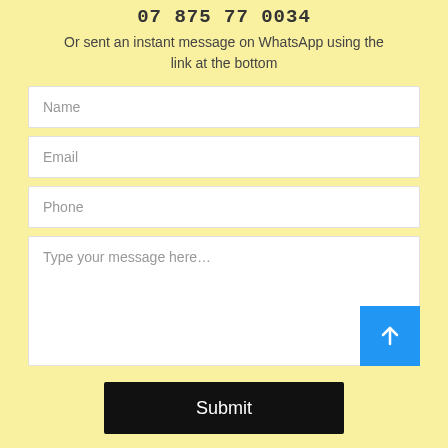07 875 77 0034
Or sent an instant message on WhatsApp using the link at the bottom
[Figure (screenshot): Contact form with Name, Email, Phone fields and a message textarea with upload button, plus a Submit button]
[Figure (infographic): Bottom navigation bar with Phone (green phone icon) and WhatsApp (green WhatsApp icon) options]